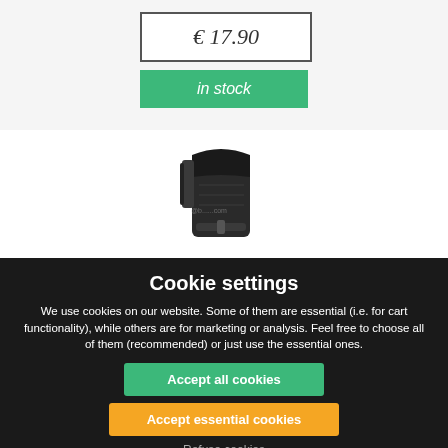€ 17.90
in stock
[Figure (photo): Black leather vertical pouch/holster for a mobile phone with belt clip and buckle strap, shown against white background. Watermark visible: @b...com]
Cookie settings
We use cookies on our website. Some of them are essential (i.e. for cart functionality), while others are for marketing or analysis. Feel free to choose all of them (recommended) or just use the essential ones.
Accept all cookies
Accept essential cookies
Refuse cookies